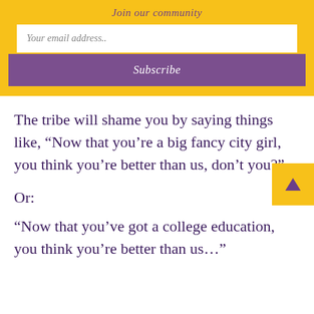Join our community
Your email address..
Subscribe
The tribe will shame you by saying things like, “Now that you’re a big fancy city girl, you think you’re better than us, don’t you?”
Or:
“Now that you’ve got a college education, you think you’re better than us…”